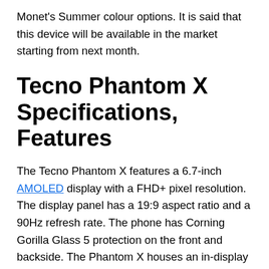Monet's Summer colour options. It is said that this device will be available in the market starting from next month.
Tecno Phantom X Specifications, Features
The Tecno Phantom X features a 6.7-inch AMOLED display with a FHD+ pixel resolution. The display panel has a 19:9 aspect ratio and a 90Hz refresh rate. The phone has Corning Gorilla Glass 5 protection on the front and backside. The Phantom X houses an in-display fingerprint sensor. Tecno claims that the handset can unlock in 4 seconds. Moving on to the hardware details, the phone ships with an octa-core